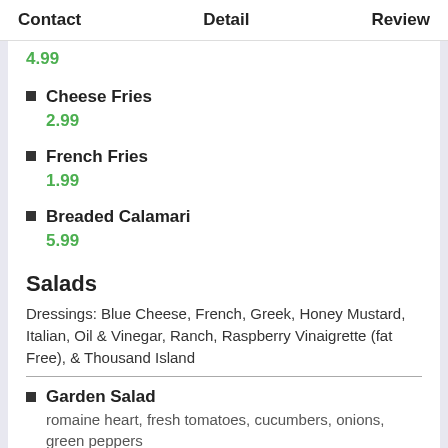Contact   Detail   Review
4.99
Cheese Fries
2.99
French Fries
1.99
Breaded Calamari
5.99
Salads
Dressings: Blue Cheese, French, Greek, Honey Mustard, Italian, Oil & Vinegar, Ranch, Raspberry Vinaigrette (fat Free), & Thousand Island
Garden Salad
romaine heart, fresh tomatoes, cucumbers, onions, green peppers
2.69
Caesar Salad (partial)